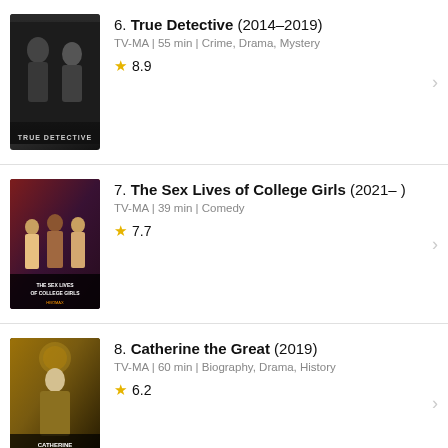6. True Detective (2014–2019) TV-MA | 55 min | Crime, Drama, Mystery ★ 8.9
7. The Sex Lives of College Girls (2021– ) TV-MA | 39 min | Comedy ★ 7.7
8. Catherine the Great (2019) TV-MA | 60 min | Biography, Drama, History ★ 6.2
[Figure (photo): Partial poster of item 9, cropped at bottom of page]